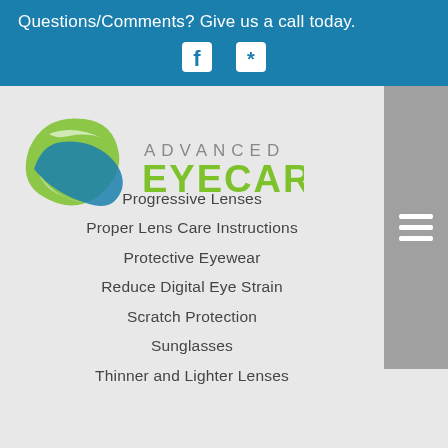Questions/Comments? Give us a call today.
[Figure (logo): Advanced Eyecare logo with green and blue circular graphic and text 'ADVANCED EYECARE']
Progressive Lenses
Proper Lens Care Instructions
Protective Eyewear
Reduce Digital Eye Strain
Scratch Protection
Sunglasses
Thinner and Lighter Lenses